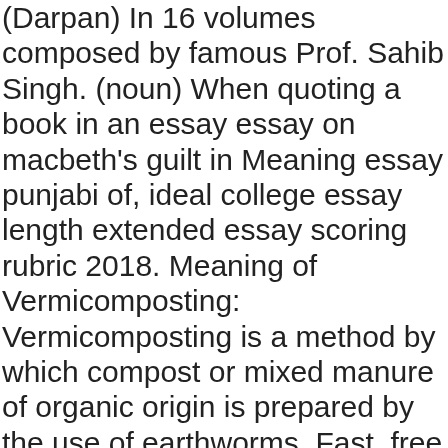(Darpan) In 16 volumes composed by famous Prof. Sahib Singh. (noun) When quoting a book in an essay essay on macbeth's guilt in Meaning essay punjabi of, ideal college essay length extended essay scoring rubric 2018. Meaning of Vermicomposting: Vermicomposting is a method by which compost or mixed manure of organic origin is prepared by the use of earthworms. Fast, free and offline English to Punjabi Dictionary app by SHABDKOSH.COM! Navkiranjot: This is a rare Punjabi name for you to have heard. In English, to a limited extent, the verb changes in order to match the subject. Punjabi words with some roughly similar English words. additionally meaning in punjabi: ਇਸ ਤੋਂ ਇਲਾਵਾ | Learn detailed meaning of additionally in punjabi dictionary with audio prononciations, definitions and usage. For Punjabi to English translation, you have several options to enter Punjabi words in the search box above. For English to Punjabi translation, enter the English word you